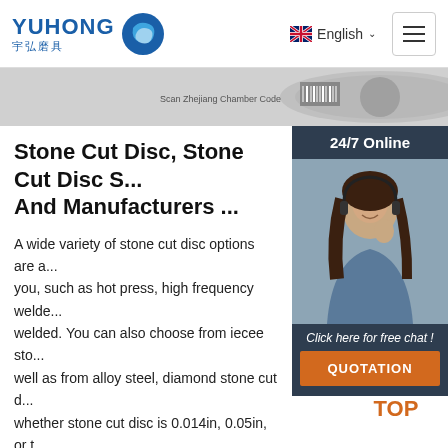[Figure (logo): Yuhong logo with blue wave icon and Chinese text 宇弘磨具]
English ∨
[Figure (screenshot): Product image strip showing a stone cut disc with label 'Scan Zhejiang Chamber Code']
[Figure (photo): 24/7 Online chat widget with photo of woman with headset, 'Click here for free chat!' text and QUOTATION button]
Stone Cut Disc, Stone Cut Disc S... And Manufacturers ...
A wide variety of stone cut disc options are a... you, such as hot press, high frequency welde... welded. You can also choose from iecee sto... well as from alloy steel, diamond stone cut d... whether stone cut disc is 0.014in, 0.05in, or t...
Get Price
[Figure (other): Orange TOP button with dot triangle icon at bottom right]